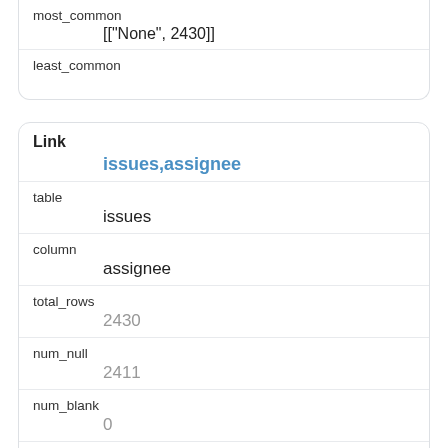| Field | Value |
| --- | --- |
| most_common | [["None", 2430]] |
| least_common |  |
| Field | Value |
| --- | --- |
| Link | issues,assignee |
| table | issues |
| column | assignee |
| total_rows | 2430 |
| num_null | 2411 |
| num_blank | 0 |
| num_distinct | 1 |
| most_common | [["None", 2430]] |